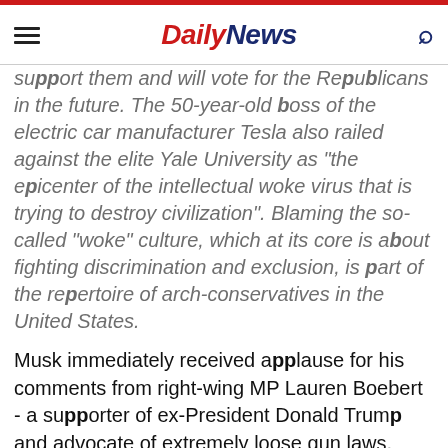Daily News
support them and will vote for the Republicans in the future. The 50-year-old boss of the electric car manufacturer Tesla also railed against the elite Yale University as "the epicenter of the intellectual woke virus that is trying to destroy civilization". Blaming the so-called "woke" culture, which at its core is about fighting discrimination and exclusion, is part of the repertoire of arch-conservatives in the United States.
Musk immediately received applause for his comments from right-wing MP Lauren Boebert - a supporter of ex-President Donald Trump and advocate of extremely loose gun laws, who stands up against corona protection measures, abortion, gay marriage and the switch to renewable energy.